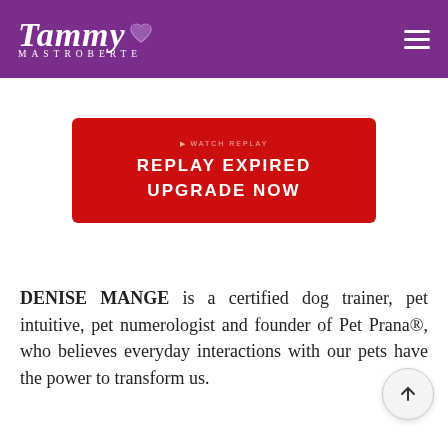Tammy Mastroberte
[Figure (logo): Tammy Mastroberte logo with stylized script text and decorative heart, white on purple background]
REPLAY EXPIRED
UPGRADE NOW
DENISE MANGE is a certified dog trainer, pet intuitive, pet numerologist and founder of Pet Prana®, who believes everyday interactions with our pets have the power to transform us.